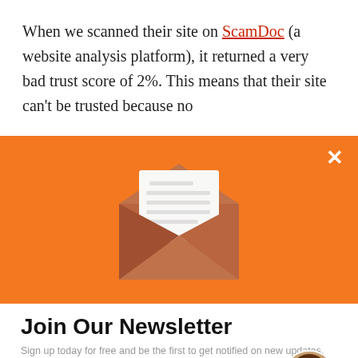When we scanned their site on ScamDoc (a website analysis platform), it returned a very bad trust score of 2%. This means that their site can't be trusted because no
[Figure (illustration): Orange banner overlay with a closed/open envelope icon (brown envelope with white letter paper showing lines), and a white X close button in the top right corner.]
Join Our Newsletter
Sign up today for free and be the first to get notified on new updates.